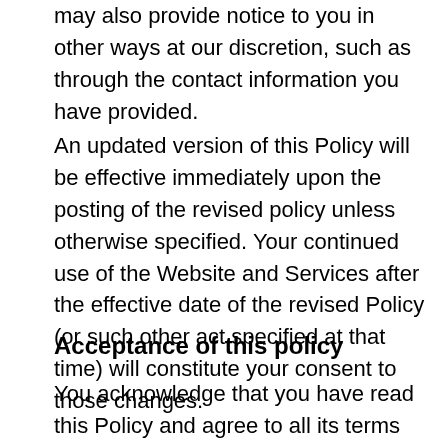may also provide notice to you in other ways at our discretion, such as through the contact information you have provided.
An updated version of this Policy will be effective immediately upon the posting of the revised policy unless otherwise specified. Your continued use of the Website and Services after the effective date of the revised Policy (or such other act specified at that time) will constitute your consent to those changes.
Acceptance of this policy
You acknowledge that you have read this Policy and agree to all its terms and conditions. By accessing and using the Website and Services you